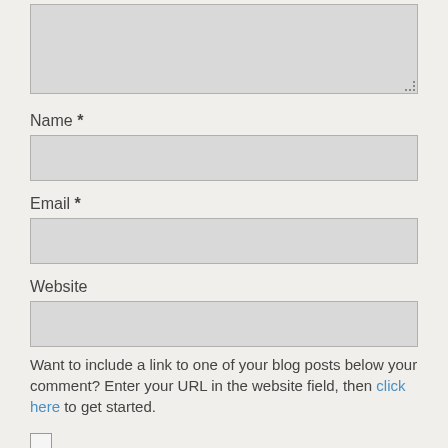[Figure (screenshot): Textarea input box (comment field) partially visible at top of page, with resize handle at bottom-right corner]
Name *
[Figure (screenshot): Text input field for Name]
Email *
[Figure (screenshot): Text input field for Email]
Website
[Figure (screenshot): Text input field for Website]
Want to include a link to one of your blog posts below your comment? Enter your URL in the website field, then click here to get started.
Save my name, email, and website in this browser for the next time I comment.